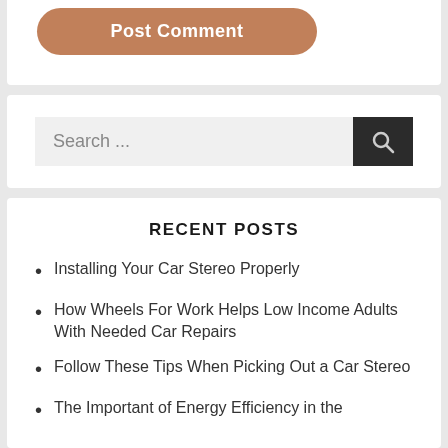[Figure (screenshot): Post Comment button with rounded corners and brown/terracotta background color]
Search ...
RECENT POSTS
Installing Your Car Stereo Properly
How Wheels For Work Helps Low Income Adults With Needed Car Repairs
Follow These Tips When Picking Out a Car Stereo
The Important of Energy Efficiency in the